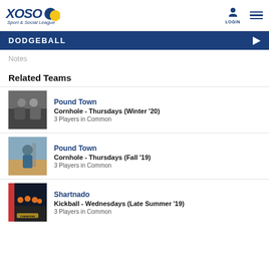XOSO Sport & Social League — LOGIN
DODGEBALL
Notes
Related Teams
[Figure (photo): Photo of two people posing indoors]
Pound Town
Cornhole - Thursdays (Winter '20)
3 Players in Common
[Figure (photo): Photo of a person outdoors near a structure]
Pound Town
Cornhole - Thursdays (Fall '19)
3 Players in Common
[Figure (photo): Group photo of team in orange shirts with Champions banner]
Shartnado
Kickball - Wednesdays (Late Summer '19)
3 Players in Common